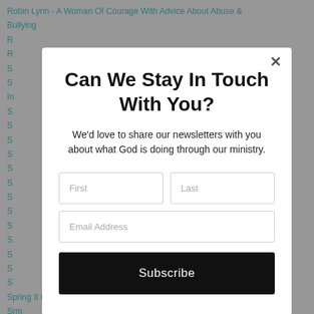Robin Lynn - A Woman Of Courage With Advice About Abuse & Bullying
Can We Stay In Touch With You?
We'd love to share our newsletters with you about what God is doing through our ministry.
First | Last | Email Address | Subscribe